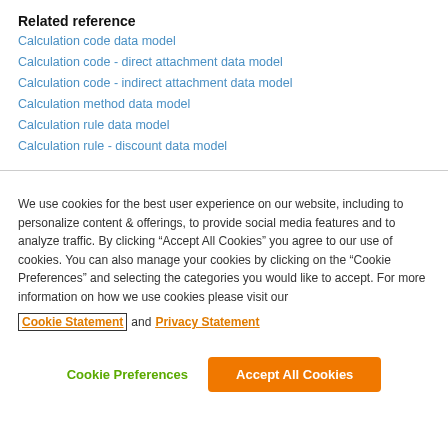Related reference
Calculation code data model
Calculation code - direct attachment data model
Calculation code - indirect attachment data model
Calculation method data model
Calculation rule data model
Calculation rule - discount data model
We use cookies for the best user experience on our website, including to personalize content & offerings, to provide social media features and to analyze traffic. By clicking “Accept All Cookies” you agree to our use of cookies. You can also manage your cookies by clicking on the “Cookie Preferences” and selecting the categories you would like to accept. For more information on how we use cookies please visit our Cookie Statement and Privacy Statement
Cookie Preferences   Accept All Cookies